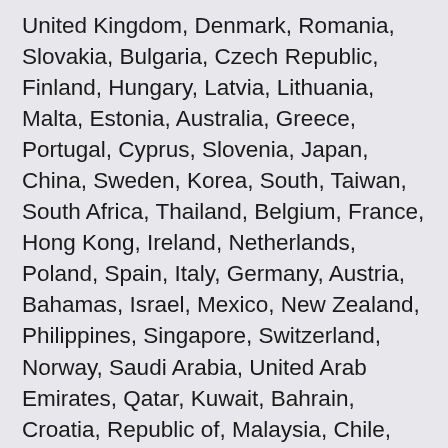United Kingdom, Denmark, Romania, Slovakia, Bulgaria, Czech Republic, Finland, Hungary, Latvia, Lithuania, Malta, Estonia, Australia, Greece, Portugal, Cyprus, Slovenia, Japan, China, Sweden, Korea, South, Taiwan, South Africa, Thailand, Belgium, France, Hong Kong, Ireland, Netherlands, Poland, Spain, Italy, Germany, Austria, Bahamas, Israel, Mexico, New Zealand, Philippines, Singapore, Switzerland, Norway, Saudi Arabia, United Arab Emirates, Qatar, Kuwait, Bahrain, Croatia, Republic of, Malaysia, Chile, Colombia, Costa Rica, Panama, Antigua and Barbuda, Aruba, Belize, Dominica, Grenada, Saint Kitts-Nevis, Saint Lucia, Montserrat, Turks and Caicos Islands, Barbados, Bangladesh, Bermuda, Brunei Darussalam, Bolivia, Egypt, French Guiana,